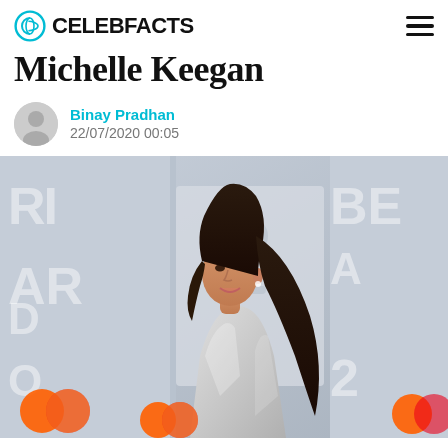CELEBFACTS
Michelle Keegan
Binay Pradhan
22/07/2020 00:05
[Figure (photo): Michelle Keegan posing on the BRIT Awards red carpet, wearing a silver sequined dress, long dark hair in a high ponytail, looking over her shoulder and smiling. The background shows the BRIT Awards step-and-repeat banner with Mastercard logos.]